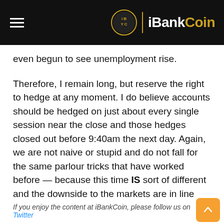iBankCoin
even begun to see unemployment rise.
Therefore, I remain long, but reserve the right to hedge at any moment. I do believe accounts should be hedged on just about every single session near the close and those hedges closed out before 9:40am the next day. Again, we are not naive or stupid and do not fall for the same parlour tricks that have worked before — because this time IS sort of different and the downside to the markets are in line with the expected earnings guide downs — which I estimate to be in the magnitude of 25-35%.
For now, however, we have a respite.
Enjoy.
If you enjoy the content at iBankCoin, please follow us on Twitter